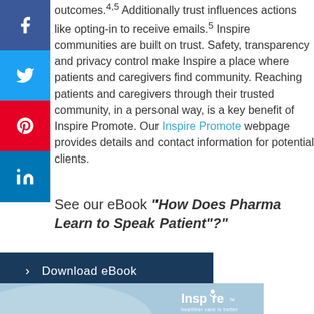outcomes. Additionally trust influences actions like opting-in to receive emails.5 Inspire communities are built on trust. Safety, transparency and privacy control make Inspire a place where patients and caregivers find community. Reaching patients and caregivers through their trusted community, in a personal way, is a key benefit of Inspire Promote. Our Inspire Promote webpage provides details and contact information for potential clients.
See our eBook "How Does Pharma Learn to Speak Patient"?
Download eBook